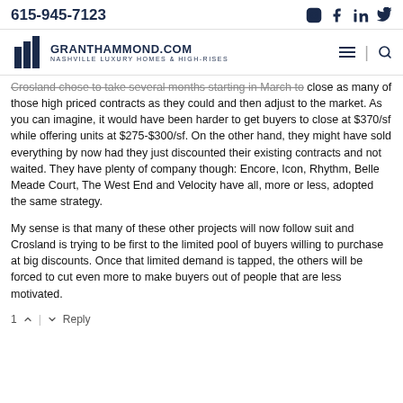615-945-7123
[Figure (logo): GrantHammond.com Nashville Luxury Homes & High-Rises logo with building icon]
Crosland chose to take several months starting in March to close as many of those high priced contracts as they could and then adjust to the market. As you can imagine, it would have been harder to get buyers to close at $370/sf while offering units at $275-$300/sf. On the other hand, they might have sold everything by now had they just discounted their existing contracts and not waited. They have plenty of company though: Encore, Icon, Rhythm, Belle Meade Court, The West End and Velocity have all, more or less, adopted the same strategy.
My sense is that many of these other projects will now follow suit and Crosland is trying to be first to the limited pool of buyers willing to purchase at big discounts. Once that limited demand is tapped, the others will be forced to cut even more to make buyers out of people that are less motivated.
1 | Reply